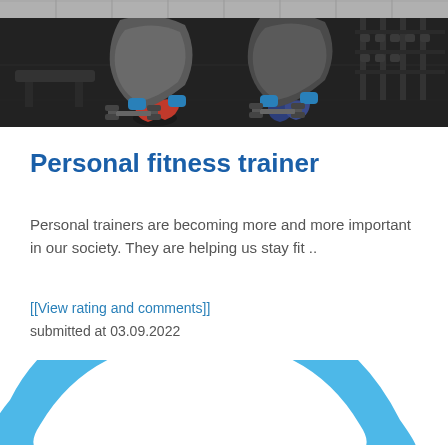[Figure (photo): Two people in a gym doing dumbbell exercises on the floor, viewed from above, with dumbbells and gym equipment visible]
Personal fitness trainer
Personal trainers are becoming more and more important in our society. They are helping us stay fit ..
[[View rating and comments]]
submitted at 03.09.2022
[Figure (logo): Partial blue circular logo or icon, cropped at bottom of page]